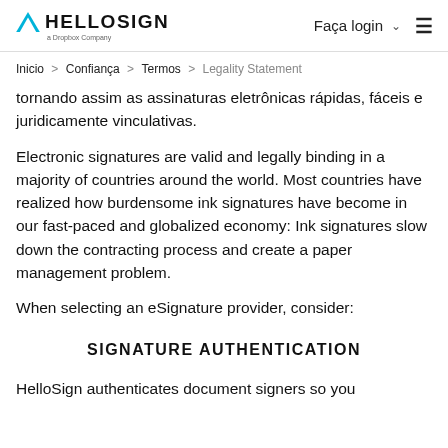HELLOSIGN a Dropbox Company | Faça login | menu
Inicio > Confiança > Termos > Legality Statement
tornando assim as assinaturas eletrônicas rápidas, fáceis e juridicamente vinculativas.
Electronic signatures are valid and legally binding in a majority of countries around the world. Most countries have realized how burdensome ink signatures have become in our fast-paced and globalized economy: Ink signatures slow down the contracting process and create a paper management problem.
When selecting an eSignature provider, consider:
SIGNATURE AUTHENTICATION
HelloSign authenticates document signers so you